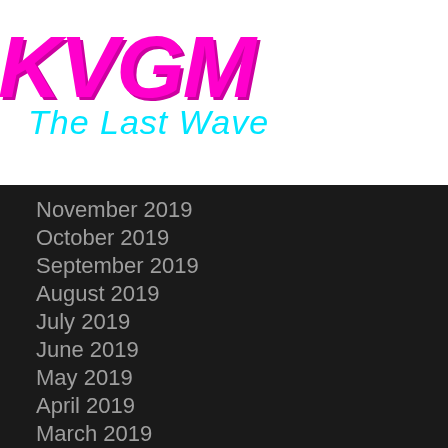[Figure (logo): KVGM The Last Wave logo with pink/magenta bold italic KVGM text and cyan cursive 'The Last Wave' subtitle]
November 2019
October 2019
September 2019
August 2019
July 2019
June 2019
May 2019
April 2019
March 2019
February 2019
January 2019